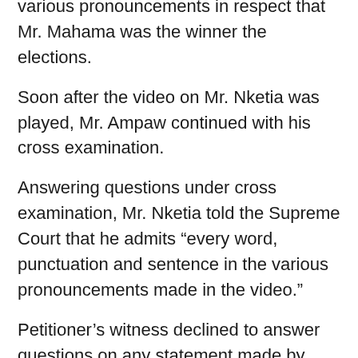various pronouncements in respect that Mr. Mahama was the winner the elections.
Soon after the video on Mr. Nketia was played, Mr. Ampaw continued with his cross examination.
Answering questions under cross examination, Mr. Nketia told the Supreme Court that he admits “every word, punctuation and sentence in the various pronouncements made in the video.”
Petitioner’s witness declined to answer questions on any statement made by other persons in the video explaining that the various pronouncements made by other members of the NDC were said before and after the Election 2020.